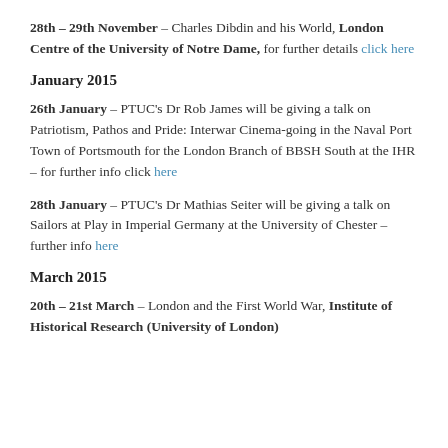28th – 29th November – Charles Dibdin and his World, London Centre of the University of Notre Dame, for further details click here
January 2015
26th January – PTUC's Dr Rob James will be giving a talk on Patriotism, Pathos and Pride: Interwar Cinema-going in the Naval Port Town of Portsmouth for the London Branch of BBSH South at the IHR – for further info click here
28th January – PTUC's Dr Mathias Seiter will be giving a talk on Sailors at Play in Imperial Germany at the University of Chester – further info here
March 2015
20th – 21st March – London and the First World War, Institute of Historical Research (University of London)